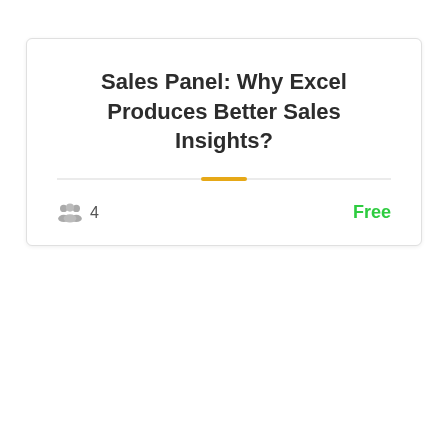Sales Panel: Why Excel Produces Better Sales Insights?
4
Free